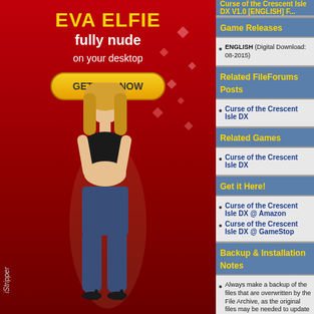[Figure (photo): Advertisement banner for iStripper featuring Eva Elfie with red background and GET HER NOW button]
Curse of the Crescent Isle DX V1.0 [ENGLISH] F...
Game Releases
ENGLISH (Digital Download: 08-2015)
Related FileForums Posts
Curse of the Crescent Isle DX
Related Games
Curse of the Crescent Isle DX
Get it Here!
Curse of the Crescent Isle DX @ Amazon
Curse of the Crescent Isle DX @ GameStop
Backup & Installation Notes
Always make a backup of the files that are overwritten by the File Archive, as the original files may be needed to update the game to a newer version or to play Online!
Some No-CD/Fixed EXE files work fine in Single Player mode but are detected to be modified when trying to play online. When this happens use the original EXE to play online.
When using Fixed Files make sure to use a Firewall which controls outgoing traffic, as some games call back to report the use of these modified files!
Some original games do not work when a certain application has been installed...